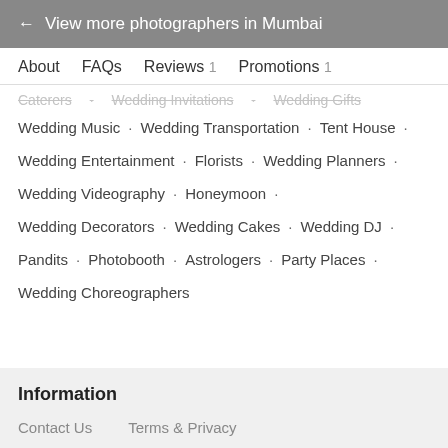← View more photographers in Mumbai
About   FAQs   Reviews 1   Promotions 1
Caterers · Wedding Invitations · Wedding Gifts
Wedding Music · Wedding Transportation · Tent House ·
Wedding Entertainment · Florists · Wedding Planners ·
Wedding Videography · Honeymoon ·
Wedding Decorators · Wedding Cakes · Wedding DJ ·
Pandits · Photobooth · Astrologers · Party Places ·
Wedding Choreographers
Information
Contact Us   Terms & Privacy